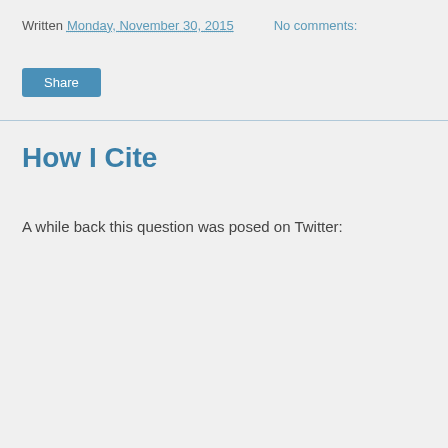Written Monday, November 30, 2015   No comments:
How I Cite
A while back this question was posed on Twitter: